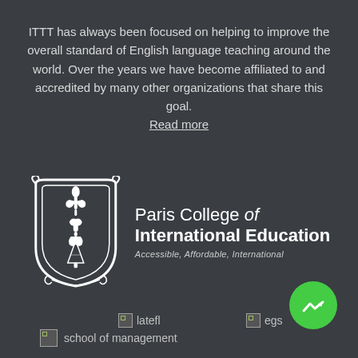ITTT has always been focused on helping to improve the overall standard of English language teaching around the world. Over the years we have become affiliated to and accredited by many other organizations that share this goal. Read more
[Figure (logo): Paris College of International Education logo with heraldic shield featuring fleur-de-lis and Eiffel Tower motif. Text reads: Paris College of International Education, Accessible, Affordable, International]
[Figure (logo): Broken image placeholder labeled 'latefl']
[Figure (logo): Broken image placeholder labeled 'egs']
[Figure (logo): Facebook Messenger button icon (green circle with lightning bolt/chat symbol)]
[Figure (logo): Broken image placeholder labeled 'school of management']